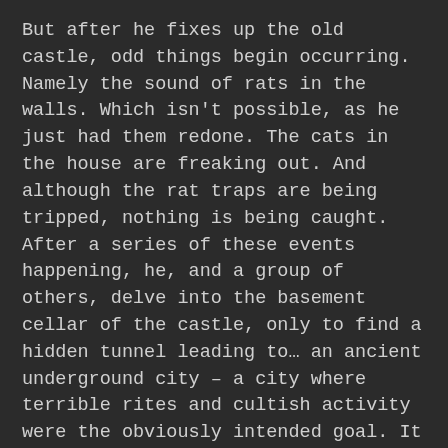But after he fixes up the old castle, odd things begin occurring. Namely the sound of rats in the walls. Which isn't possible, as he just had them redone. The cats in the house are freaking out. And although the rat traps are being tripped, nothing is being caught. After a series of these events happening, he, and a group of others, delve into the basement cellar of the castle, only to find a hidden tunnel leading to… an ancient underground city – a city where terrible rites and cultish activity were the obviously intended goal. It dates back, potentially, ten thousand years, and was last in use as late as the 15th century. They farmed humans to a point where they devolved into quadrupedal beings.
But the worst are the pits full of bones. We soon find out that they draw individuals in and cause them to enter an orgy-like state of cannibalism – a frenzy. Our